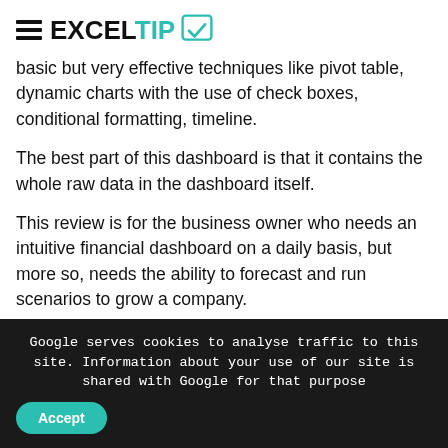ExcelTip
basic but very effective techniques like pivot table, dynamic charts with the use of check boxes, conditional formatting, timeline.
The best part of this dashboard is that it contains the whole raw data in the dashboard itself.
This review is for the business owner who needs an intuitive financial dashboard on a daily basis, but more so, needs the ability to forecast and run scenarios to grow a company.
In today's world, there is a huge pressure on the management to provide faster and transparent information, which helps in determining company's
Google serves cookies to analyse traffic to this site. Information about your use of our site is shared with Google for that purpose